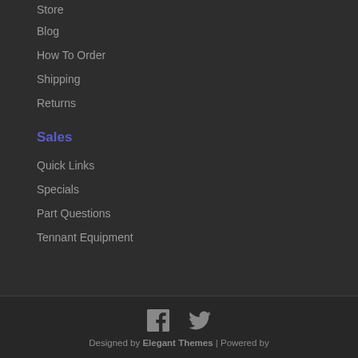Store
Blog
How To Order
Shipping
Returns
Sales
Quick Links
Specials
Part Questions
Tennant Equipment
[Figure (illustration): Facebook and Twitter social media icons in grey]
Designed by Elegant Themes | Powered by